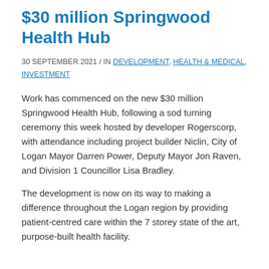$30 million Springwood Health Hub
30 SEPTEMBER 2021 / IN DEVELOPMENT, HEALTH & MEDICAL, INVESTMENT
Work has commenced on the new $30 million Springwood Health Hub, following a sod turning ceremony this week hosted by developer Rogerscorp, with attendance including project builder Niclin, City of Logan Mayor Darren Power, Deputy Mayor Jon Raven, and Division 1 Councillor Lisa Bradley.
The development is now on its way to making a difference throughout the Logan region by providing patient-centred care within the 7 storey state of the art, purpose-built health facility.